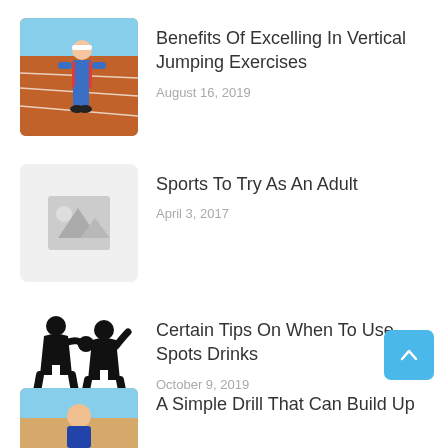[Figure (photo): Child in athletic stance on a running track, wearing a blue tracksuit and white headband]
Benefits Of Excelling In Vertical Jumping Exercises
August 16, 2019
[Figure (photo): Placeholder image with mountain/landscape icon on grey background]
Sports To Try As An Adult
April 3, 2017
[Figure (illustration): Black silhouette of two basketball players, one dribbling against a defender]
Certain Tips On When To Use Spots Drinks
October 9, 2019
[Figure (photo): Partial view of athlete in sports uniform, cropped at bottom of page]
A Simple Drill That Can Build Up